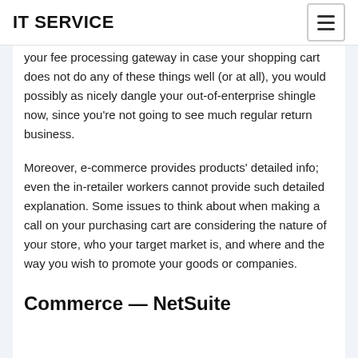IT SERVICE
your fee processing gateway in case your shopping cart does not do any of these things well (or at all), you would possibly as nicely dangle your out-of-enterprise shingle now, since you’re not going to see much regular return business.
Moreover, e-commerce provides products’ detailed info; even the in-retailer workers cannot provide such detailed explanation. Some issues to think about when making a call on your purchasing cart are considering the nature of your store, who your target market is, and where and the way you wish to promote your goods or companies.
Commerce — NetSuite